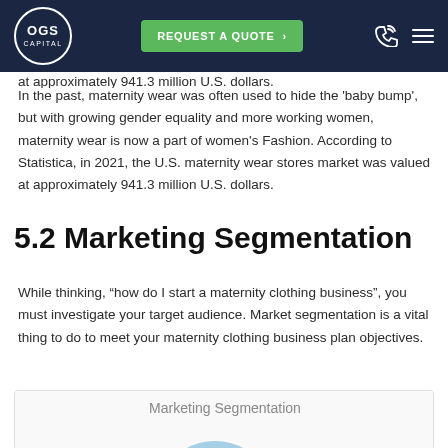OGS CAPITAL | REQUEST A QUOTE
In the past, maternity wear was often used to hide the 'baby bump', but with growing gender equality and more working women, maternity wear is now a part of women's Fashion. According to Statistica, in 2021, the U.S. maternity wear stores market was valued at approximately 941.3 million U.S. dollars.
5.2 Marketing Segmentation
While thinking, “how do I start a maternity clothing business”, you must investigate your target audience. Market segmentation is a vital thing to do to meet your maternity clothing business plan objectives.
[Figure (pie-chart): Partial pie chart showing Marketing Segmentation, cut off at bottom of page.]